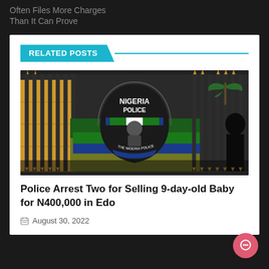Often Files More Charges Than It Can Prove
RELATED POSTS
[Figure (photo): Nigeria Police emblem/badge mounted on a black iron gate with gold-tipped spear tops, in front of a yellow and green/blue building. The shield-shaped badge reads 'NIGERIA POLICE' with a figure and 'THE NIGERIA POLICE' at the bottom.]
Police Arrest Two for Selling 9-day-old Baby for N400,000 in Edo
August 30, 2022